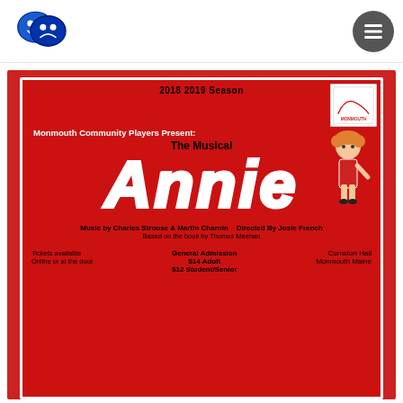[Figure (logo): Blue theater comedy/tragedy masks logo]
[Figure (logo): Hamburger menu button (three horizontal lines) in dark gray circle]
[Figure (illustration): Annie musical poster on red background. Text: '2018 2019 Season', 'Monmouth Community Players Present:', 'The Musical Annie', 'Music by Charles Strouse & Martin Charnin  Directed By Josie French', 'Based on the book by Thomas Meehan', 'Tickets available  General Admission  Curnston Hall', 'Online or at the door  $14 Adult  Monmouth Maine', '$12 Student/Senior'. Includes illustration of Annie character and Monmouth logo.]